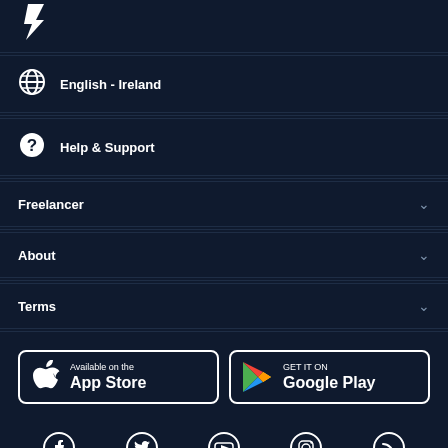[Figure (logo): Freelancer logo icon (white arrow/lightning bolt) partially visible at top]
English - Ireland
Help & Support
Freelancer
About
Terms
[Figure (other): App Store and Google Play download buttons]
[Figure (other): Social media icons: Facebook, Twitter, YouTube, Instagram, RSS]